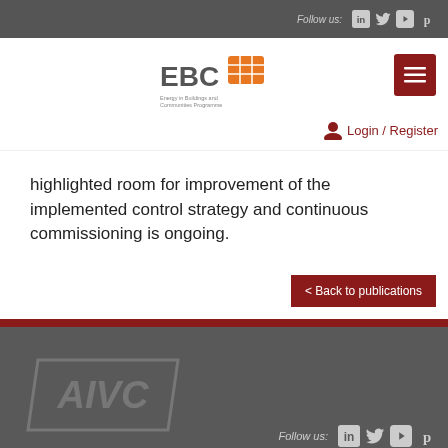Follow us:
[Figure (logo): EBC Energy in Buildings and Communities Programme logo]
highlighted room for improvement of the implemented control strategy and continuous commissioning is ongoing.
< Back to publications
[Figure (logo): AIVC logo in grey]
Follow us: